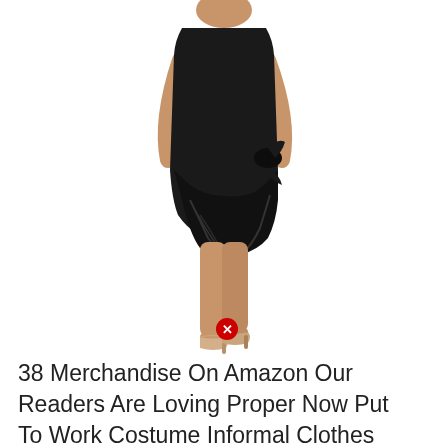[Figure (photo): A woman wearing a black sleeveless wrap-style dress with a side tie detail and draped skirt, paired with nude high-heel pumps, photographed against a white background.]
38 Merchandise On Amazon Our Readers Are Loving Proper Now Put On To Work Costume Informed Clothes Black Formal 2...